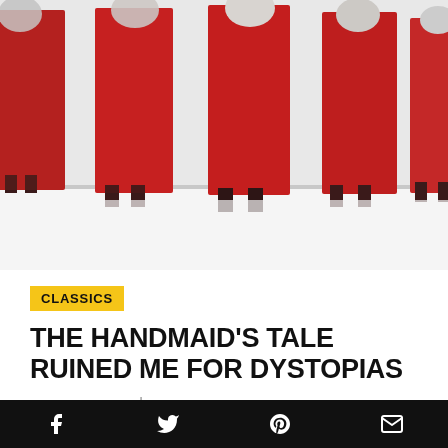[Figure (illustration): Book cover or artwork showing figures in red dresses/robes from The Handmaid's Tale, with a blurred/stylized look. Multiple red-robed figures standing in a row against a pale background.]
CLASSICS
THE HANDMAID'S TALE RUINED ME FOR DYSTOPIAS
Kit Steinkellner | Sep 3, 2013
This post is part of our Margaret Atwood Riot
Social share icons: Facebook, Twitter, Pinterest, Email